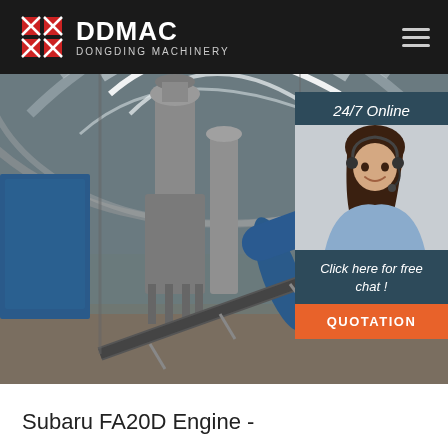DDMAC DONGDING MACHINERY
[Figure (photo): Industrial facility interior showing rotary drum dryer machinery, conveyor belts, dust collector towers, and blue storage bins inside a large arched steel-framed warehouse with strip lighting on ceiling. Overlay panel showing '24/7 Online' with customer service agent photo and 'Click here for free chat!' with QUOTATION button.]
Subaru FA20D Engine -